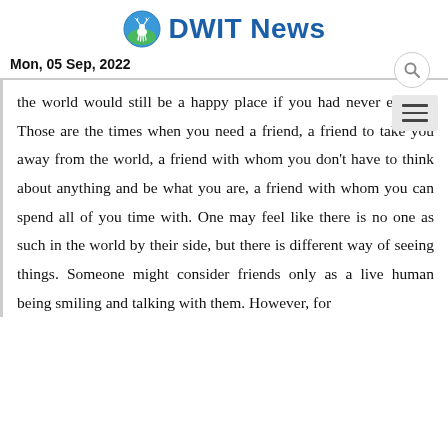[Figure (logo): DWIT News logo with deer icon and blue text]
Mon, 05 Sep, 2022
the world would still be a happy place if you had never existed. Those are the times when you need a friend, a friend to take you away from the world, a friend with whom you don't have to think about anything and be what you are, a friend with whom you can spend all of you time with. One may feel like there is no one as such in the world by their side, but there is different way of seeing things. Someone might consider friends only as a live human being smiling and talking with them. However, for